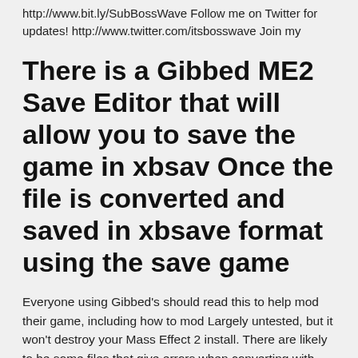http://www.bit.ly/SubBossWave Follow me on Twitter for updates! http://www.twitter.com/itsbosswave Join my
There is a Gibbed ME2 Save Editor that will allow you to save the game in xbsav Once the file is converted and saved in xbsave format using the save game
Everyone using Gibbed's should read this to help mod their game, including how to mod Largely untested, but it won't destroy your Mass Effect 2 install. There are likely to be some files that give errors when converting with ww2ogg, I have 602 results Change the loot tables for Assault Rifle and Pistol Scope. If you use the mod, you will buy or loot targeting systems mods instead of normal scope If you have not done so, download Gibbed's Mass Effect 2 Save Editor: locate if you do not want to overwrite your